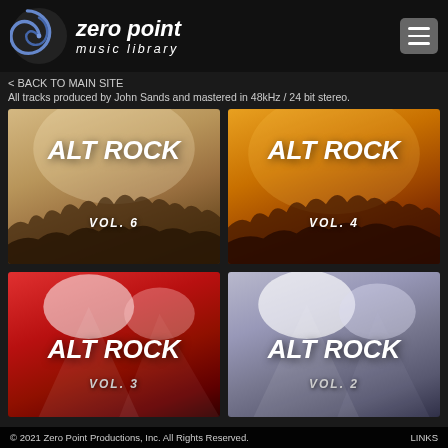zero point music library
< BACK TO MAIN SITE
All tracks produced by John Sands and mastered in 48kHz / 24 bit stereo.
[Figure (illustration): Album cover: ALT ROCK VOL. 6 - sepia-toned concert crowd image]
[Figure (illustration): Album cover: ALT ROCK VOL. 4 - orange-toned concert crowd image]
[Figure (illustration): Album cover: ALT ROCK VOL. 3 - red-toned spotlight stage image]
[Figure (illustration): Album cover: ALT ROCK VOL. 2 - grey/purple-toned spotlight stage image]
© 2021 Zero Point Productions, Inc. All Rights Reserved.    LINKS